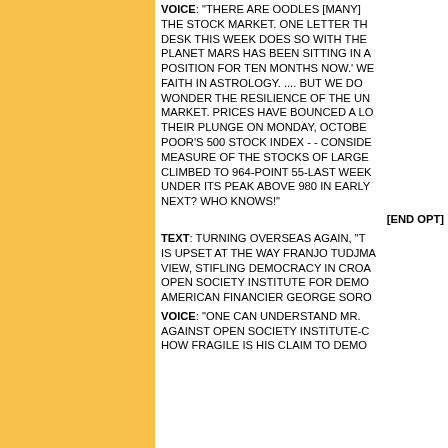VOICE: "THERE ARE OODLES [MANY] THE STOCK MARKET. ONE LETTER TH DESK THIS WEEK DOES SO WITH THE PLANET MARS HAS BEEN SITTING IN A POSITION FOR TEN MONTHS NOW.' WE FAITH IN ASTROLOGY. .... BUT WE DO WONDER THE RESILIENCE OF THE UN MARKET. PRICES HAVE BOUNCED A LO THEIR PLUNGE ON MONDAY, OCTOBE POOR'S 500 STOCK INDEX - - CONSIDE MEASURE OF THE STOCKS OF LARGE CLIMBED TO 964-POINT 55-LAST WEEK UNDER ITS PEAK ABOVE 980 IN EARLY NEXT? WHO KNOWS!"
[END OPT]
TEXT: TURNING OVERSEAS AGAIN, "T IS UPSET AT THE WAY FRANJO TUDJMA VIEW, STIFLING DEMOCRACY IN CROA OPEN SOCIETY INSTITUTE FOR DEMO AMERICAN FINANCIER GEORGE SORO
VOICE: "ONE CAN UNDERSTAND MR. AGAINST OPEN SOCIETY INSTITUTE-C HOW FRAGILE IS HIS CLAIM TO DEMO